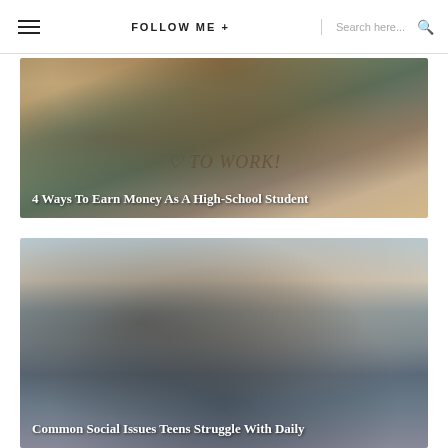≡  FOLLOW ME +  Search here...
[Figure (photo): A young woman holding a cardboard sign that reads '♡ TO WORK!' on a street, with overlay text of article title]
4 Ways To Earn Money As A High-School Student
[Figure (photo): Two teenage girls, one comforting the other who has her head down in distress, outdoors]
Common Social Issues Teens Struggle With Daily